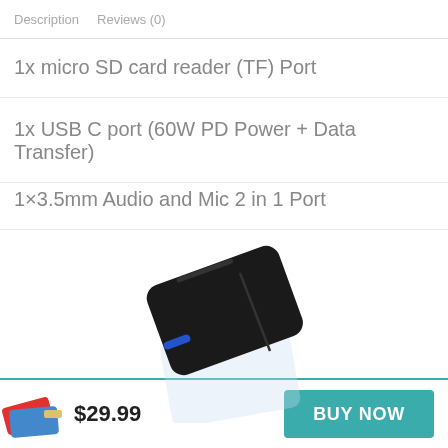Description   Reviews (0)
1x micro SD card reader (TF) Port
1x USB C port (60W PD Power + Data Transfer)
1×3.5mm Audio and Mic 2 in 1 Port
[Figure (photo): Black USB hub/dongle device shown at an angle, partially overlapping the bottom price bar]
$29.99
BUY NOW